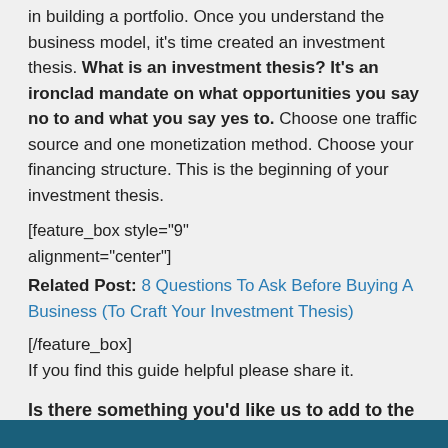in building a portfolio. Once you understand the business model, it's time created an investment thesis. What is an investment thesis? It's an ironclad mandate on what opportunities you say no to and what you say yes to. Choose one traffic source and one monetization method. Choose your financing structure. This is the beginning of your investment thesis.
[feature_box style="9" only_advanced="There%20are%20no%20title%20options%20for%20the%20choosen%20style" alignment="center"]
Related Post: 8 Questions To Ask Before Buying A Business (To Craft Your Investment Thesis)
[/feature_box]
If you find this guide helpful please share it.
Is there something you'd like us to add to the curriculum? Comment below with your thoughts.